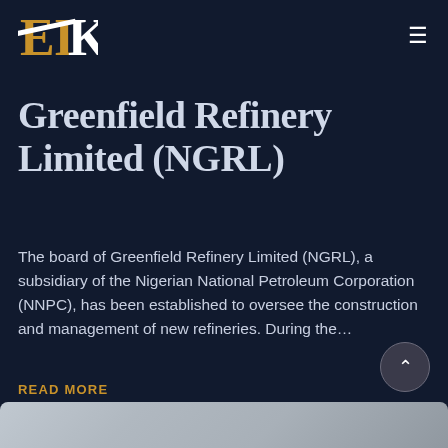EK [logo] ≡
Greenfield Refinery Limited (NGRL)
The board of Greenfield Refinery Limited (NGRL), a subsidiary of the Nigerian National Petroleum Corporation (NNPC), has been established to oversee the construction and management of new refineries. During the…
READ MORE
[Figure (photo): Bottom edge of page showing a partially visible image with grey/silver tones, curved top corners]